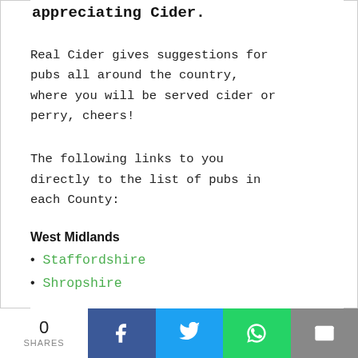appreciating Cider.
Real Cider gives suggestions for pubs all around the country, where you will be served cider or perry, cheers!
The following links to you directly to the list of pubs in each County:
West Midlands
Staffordshire
Shropshire
0 SHARES | Facebook | Twitter | WhatsApp | Email